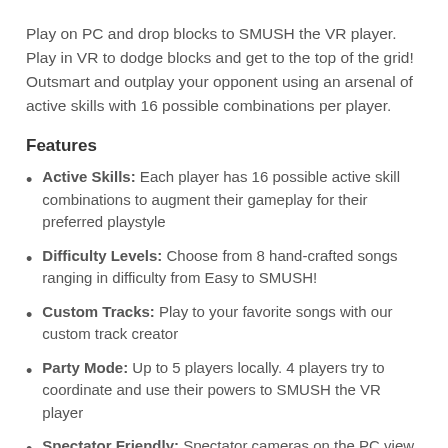Play on PC and drop blocks to SMUSH the VR player. Play in VR to dodge blocks and get to the top of the grid! Outsmart and outplay your opponent using an arsenal of active skills with 16 possible combinations per player.
Features
Active Skills: Each player has 16 possible active skill combinations to augment their gameplay for their preferred playstyle
Difficulty Levels: Choose from 8 hand-crafted songs ranging in difficulty from Easy to SMUSH!
Custom Tracks: Play to your favorite songs with our custom track creator
Party Mode: Up to 5 players locally. 4 players try to coordinate and use their powers to SMUSH the VR player
Spectator Friendly: Spectator cameras on the PC view show what the VR player sees in first and third person. See all the action while you